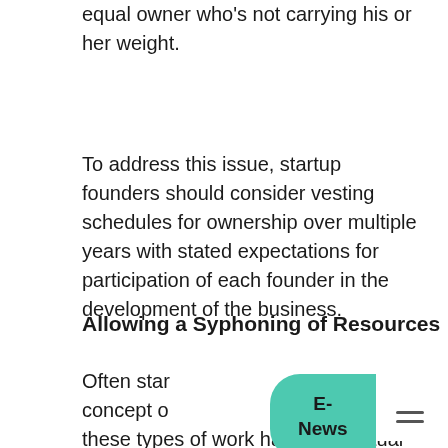equal owner who's not carrying his or her weight.
To address this issue, startup founders should consider vesting schedules for ownership over multiple years with stated expectations for participation of each founder in the development of the business.
Allowing a Syphoning of Resources
Often startups ... new concept of ... s of these types of work have intellectual